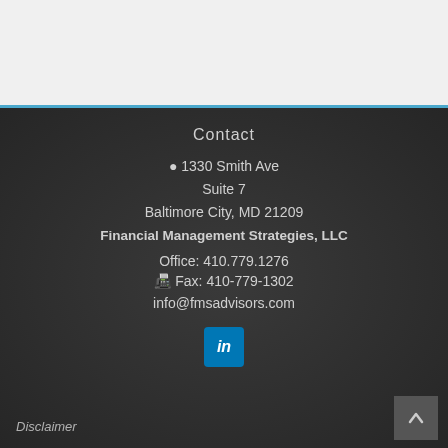[Figure (other): Top white/light gray section of webpage above the footer]
Contact
📍 1330 Smith Ave
Suite 7
Baltimore City, MD 21209
Financial Management Strategies, LLC
Office: 410.779.1276
🖨 Fax: 410-779-1302
info@fmsadvisors.com
[Figure (logo): LinkedIn icon button (blue square with 'in' text)]
Disclaimer